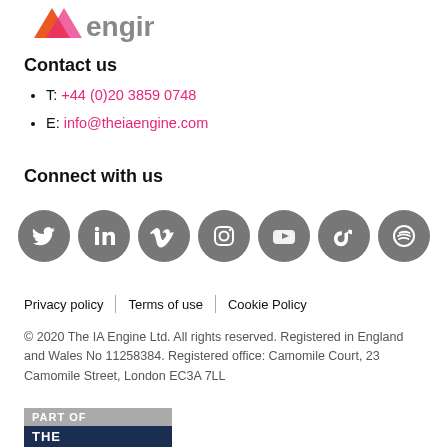[Figure (logo): The IA Engine logo — geometric orange/pink icon and grey 'engine' text]
Contact us
T: +44 (0)20 3859 0748
E: info@theiaengine.com
Connect with us
[Figure (illustration): Seven grey circular social media icons: Twitter, LinkedIn, Vimeo, Instagram, YouTube, TikTok, Spotify]
Privacy policy | Terms of use | Cookie Policy
© 2020 The IA Engine Ltd. All rights reserved. Registered in England and Wales No 11258384. Registered office: Camomile Court, 23 Camomile Street, London EC3A 7LL
[Figure (logo): Part of The [group] badge — grey top bar reading PART OF, dark navy bottom bar reading THE]